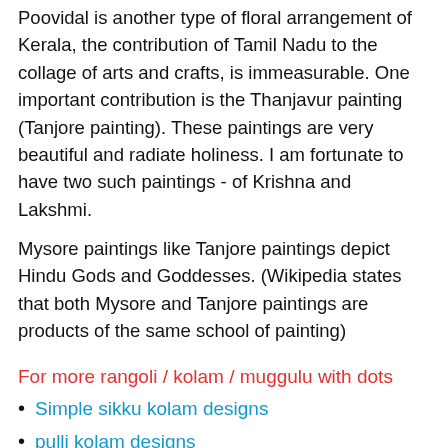Poovidal is another type of floral arrangement of Kerala, the contribution of Tamil Nadu to the collage of arts and crafts, is immeasurable. One important contribution is the Thanjavur painting (Tanjore painting). These paintings are very beautiful and radiate holiness. I am fortunate to have two such paintings - of Krishna and Lakshmi.
Mysore paintings like Tanjore paintings depict Hindu Gods and Goddesses. (Wikipedia states that both Mysore and Tanjore paintings are products of the same school of painting)
For more rangoli / kolam / muggulu with dots
Simple sikku kolam designs
pulli kolam designs
A collection of 30 simple kolam ( 4 to 9 dots ) videos - 30 kolam for 30 days in a month is at 30 kolam designs on my YouTube Channel. The videos view time is 30 minutes